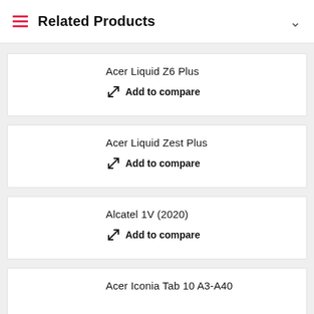Related Products
Acer Liquid Z6 Plus — Add to compare
Acer Liquid Zest Plus — Add to compare
Alcatel 1V (2020) — Add to compare
Acer Iconia Tab 10 A3-A40